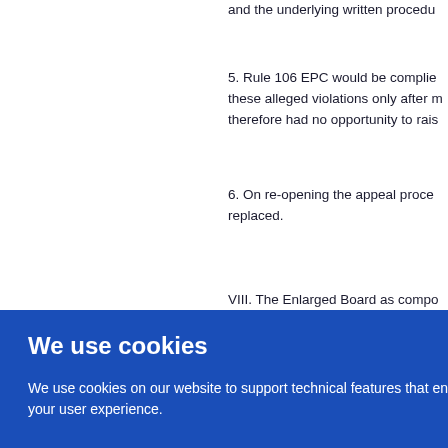and the underlying written procedu...
5. Rule 106 EPC would be complie... these alleged violations only after m... therefore had no opportunity to rais...
6. On re-opening the appeal proce... replaced.
VIII. The Enlarged Board as compo...
We use cookies
We use cookies on our website to support technical features that enhance your user experience.
OK
We also use analytics. Access full information on cookies that we use and how to manage them
ings f...